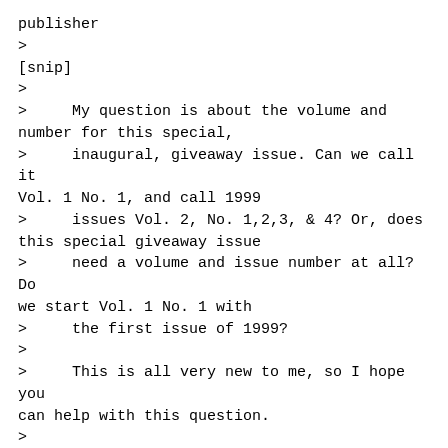publisher
>
[snip]
>
>     My question is about the volume and number for this special,
>     inaugural, giveaway issue. Can we call it Vol. 1 No. 1, and call 1999
>     issues Vol. 2, No. 1,2,3, & 4? Or, does this special giveaway issue
>     need a volume and issue number at all? Do we start Vol. 1 No. 1 with
>     the first issue of 1999?
>
>     This is all very new to me, so I hope you can help with this question.
>
>     Thanks so much.

It may be new to you, but you know to ask the right questions!  Actually,
this is done a variety of ways, and I can't
It may be new to you, but you know to ask the right questions!  Actually,
this is done a variety of ways, and I can't